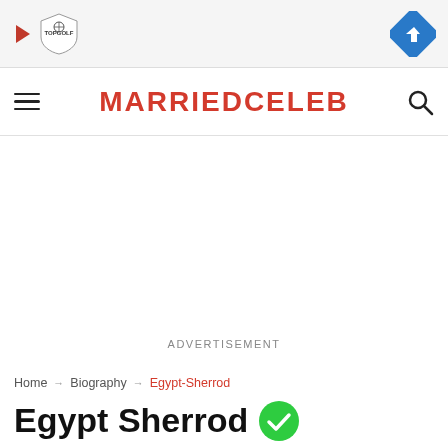[Figure (screenshot): Ad banner with TopGolf logo (play icon + shield) on left and blue navigation arrow icon on right, on light grey background]
MARRIEDCELEB
Home → Biography → Egypt-Sherrod
Egypt Sherrod